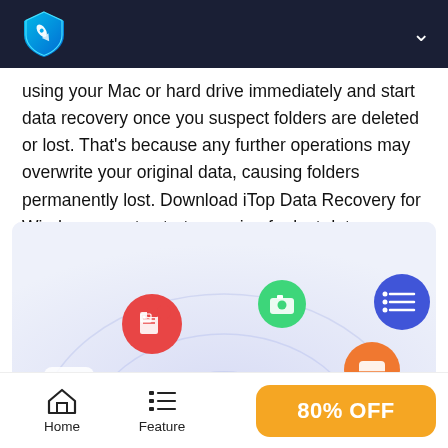iTop Data Recovery app header with logo and menu chevron
using your Mac or hard drive immediately and start data recovery once you suspect folders are deleted or lost. That’s because any further operations may overwrite your original data, causing folders permanently lost. Download iTop Data Recovery for Windows now to start scanning for lost data.
[Figure (illustration): iTop Data Recovery software interface illustration showing a circular radar/scanner with colorful icons: red document icon, green camera icon, blue list/menu icon, orange storage icon, and a video player icon on a light blue/purple gradient background. A blue circle with a checkmark is in the center bottom.]
Home | Feature | 80% OFF